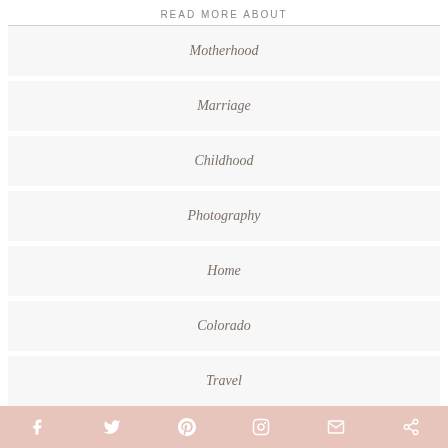READ MORE ABOUT
Motherhood
Marriage
Childhood
Photography
Home
Colorado
Travel
[Figure (infographic): Social media share buttons bar at bottom: Facebook, Twitter, Pinterest, Instagram, Email, Share — all with pink/rose background and white icons]